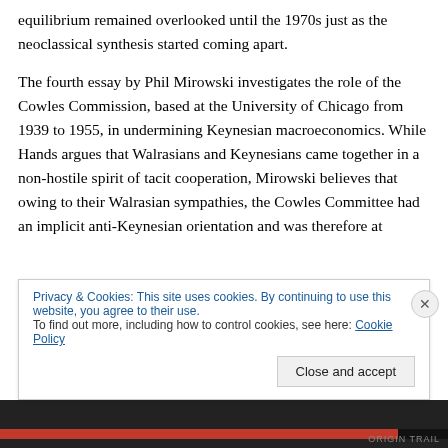equilibrium remained overlooked until the 1970s just as the neoclassical synthesis started coming apart.
The fourth essay by Phil Mirowski investigates the role of the Cowles Commission, based at the University of Chicago from 1939 to 1955, in undermining Keynesian macroeconomics. While Hands argues that Walrasians and Keynesians came together in a non-hostile spirit of tacit cooperation, Mirowski believes that owing to their Walrasian sympathies, the Cowles Committee had an implicit anti-Keynesian orientation and was therefore at
Privacy & Cookies: This site uses cookies. By continuing to use this website, you agree to their use.
To find out more, including how to control cookies, see here: Cookie Policy